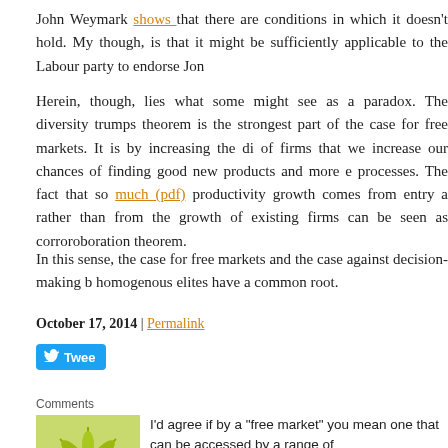John Weymark shows that there are conditions in which it doesn't hold. My though, is that it might be sufficiently applicable to the Labour party to endorse Jon
Herein, though, lies what some might see as a paradox. The diversity trumps theorem is the strongest part of the case for free markets. It is by increasing the di of firms that we increase our chances of finding good new products and more e processes. The fact that so much (pdf) productivity growth comes from entry a rather than from the growth of existing firms can be seen as corroroboration theorem.
In this sense, the case for free markets and the case against decision-making b homogenous elites have a common root.
October 17, 2014 | Permalink
[Figure (other): Twitter Tweet button (blue rounded button with bird icon and 'Twee' text)]
Comments
[Figure (illustration): Green decorative flower/snowflake avatar icon on light green background]
I'd agree if by a "free market" you mean one that can be accessed by a range of individuals/entities.
Since whatever society deems as money (in the case of the US money predominantly electronic bank deposit balances)determines one's abilit access the "free" market, if financial resources are concentrated then m